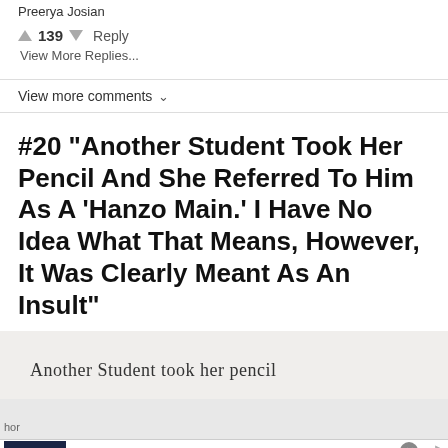Preerya Josian
↑ 139 ↓  Reply
View More Replies...
View more comments ∨
#20 "Another Student Took Her Pencil And She Referred To Him As A 'Hanzo Main.' I Have No Idea What That Means, However, It Was Clearly Meant As An Insult"
[Figure (photo): Handwritten note on lined paper reading 'Another Student took her pencil']
[Figure (screenshot): NFL Shop advertisement banner showing a blue football jersey, text 'NFL Shop', 'Free shipping on orders over $25', 'www.nflshop.com', and a blue circular arrow button]